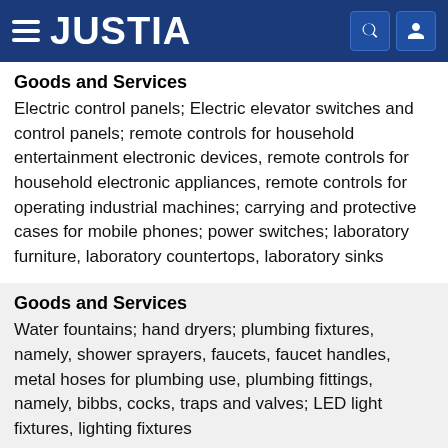JUSTIA
Goods and Services
Electric control panels; Electric elevator switches and control panels; remote controls for household entertainment electronic devices, remote controls for household electronic appliances, remote controls for operating industrial machines; carrying and protective cases for mobile phones; power switches; laboratory furniture, laboratory countertops, laboratory sinks
Goods and Services
Water fountains; hand dryers; plumbing fixtures, namely, shower sprayers, faucets, faucet handles, metal hoses for plumbing use, plumbing fittings, namely, bibbs, cocks, traps and valves; LED light fixtures, lighting fixtures
Goods and Services